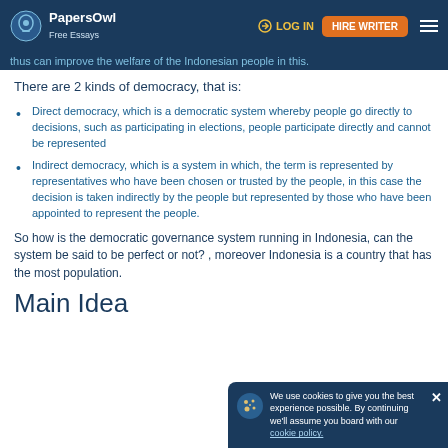PapersOwl Free Essays | LOG IN | HIRE WRITER
thus can improve the welfare of the Indonesian people in this.
There are 2 kinds of democracy, that is:
Direct democracy, which is a democratic system whereby people go directly to decisions, such as participating in elections, people participate directly and cannot be represented
Indirect democracy, which is a system in which, the term is represented by representatives who have been chosen or trusted by the people, in this case the decision is taken indirectly by the people but represented by those who have been appointed to represent the people.
So how is the democratic governance system running in Indonesia, can the system be said to be perfect or not? , moreover Indonesia is a country that has the most population.
Main Idea